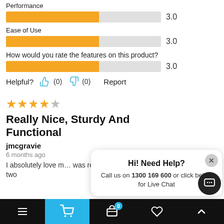Performance
[Figure (bar-chart): Performance]
Ease of Use
[Figure (bar-chart): Ease of Use]
How would you rate the features on this product?
[Figure (bar-chart): Features]
Helpful? (0) (0) Report
[Figure (other): 4 out of 5 stars rating]
Really Nice, Sturdy And Functional
jmcgravie
6 months ago
I absolutely love m… was relatively easy (would recommend having two
[Figure (screenshot): Chat popup: Hi! Need Help? Call us on 1300 169 600 or click below for Live Chat]
Navigation bar with menu, cart (0), basket, heart, and up arrow icons